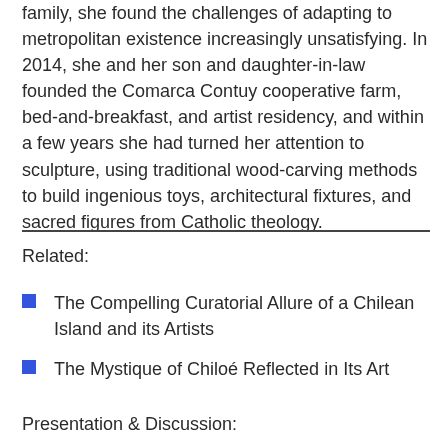family, she found the challenges of adapting to metropolitan existence increasingly unsatisfying. In 2014, she and her son and daughter-in-law founded the Comarca Contuy cooperative farm, bed-and-breakfast, and artist residency, and within a few years she had turned her attention to sculpture, using traditional wood-carving methods to build ingenious toys, architectural fixtures, and sacred figures from Catholic theology.
Related:
The Compelling Curatorial Allure of a Chilean Island and its Artists
The Mystique of Chiloé Reflected in Its Art
Presentation & Discussion: